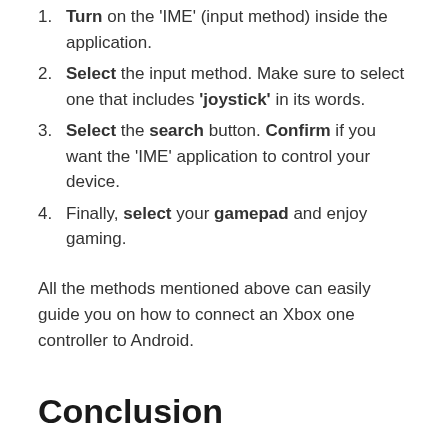Turn on the 'IME' (input method) inside the application.
Select the input method. Make sure to select one that includes 'joystick' in its words.
Select the search button. Confirm if you want the 'IME' application to control your device.
Finally, select your gamepad and enjoy gaming.
All the methods mentioned above can easily guide you on how to connect an Xbox one controller to Android.
Conclusion